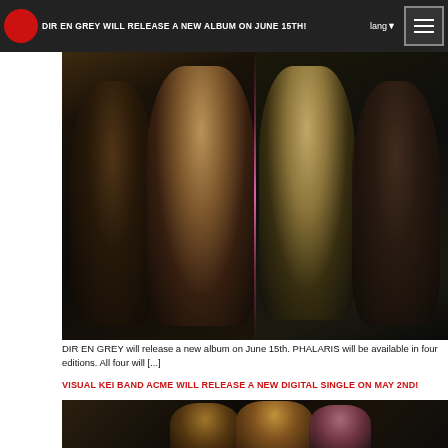ceremony" concerts he [...]
DIR EN GREY WILL RELEASE A NEW ALBUM ON JUNE 15TH!
[Figure (photo): DIR EN GREY band photo showing four members with dramatic dark lighting and styling]
DIR EN GREY will release a new album on June 15th. PHALARIS will be available in four editions. All four will [...]
VISUAL KEI BAND ACME WILL RELEASE A NEW DIGITAL SINGLE ON MAY 2ND!
[Figure (photo): ACME band photo showing three members in dark industrial-style setting]